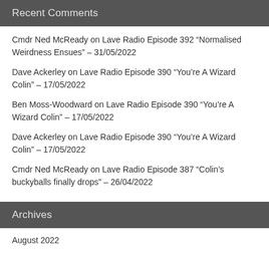Recent Comments
Cmdr Ned McReady on Lave Radio Episode 392 “Normalised Weirdness Ensues” – 31/05/2022
Dave Ackerley on Lave Radio Episode 390 “You’re A Wizard Colin” – 17/05/2022
Ben Moss-Woodward on Lave Radio Episode 390 “You’re A Wizard Colin” – 17/05/2022
Dave Ackerley on Lave Radio Episode 390 “You’re A Wizard Colin” – 17/05/2022
Cmdr Ned McReady on Lave Radio Episode 387 “Colin’s buckyballs finally drops” – 26/04/2022
Archives
August 2022